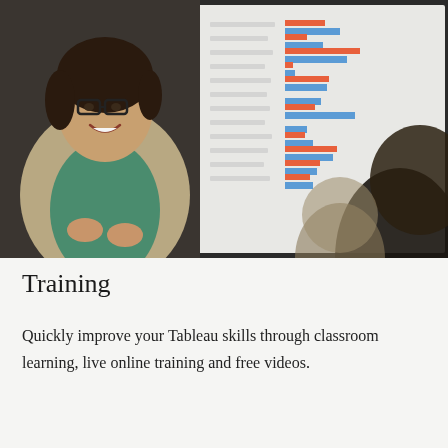[Figure (photo): A smiling woman with glasses and short dark hair, wearing a beige blazer over a green top, presenting in front of a large screen showing a horizontal bar chart with orange and blue bars. In the foreground, the blurred back of a viewer's head is visible.]
Training
Quickly improve your Tableau skills through classroom learning, live online training and free videos.